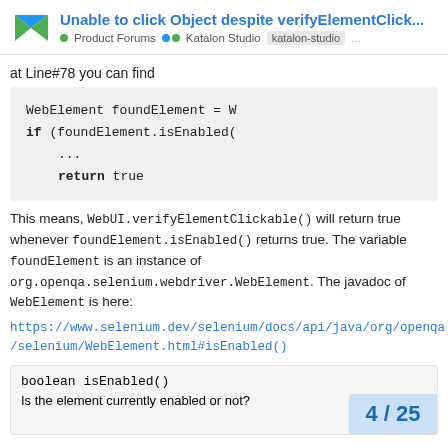Unable to click Object despite verifyElementClick... | Product Forums • Katalon Studio | katalon-studio ...
at Line#78 you can find
[Figure (screenshot): Code block showing: WebElement foundElement = W
if (foundElement.isEnabled(
    ...
    return true]
This means, WebUI.verifyElementClickable() will return true whenever foundElement.isEnabled() returns true. The variable foundElement is an instance of org.openqa.selenium.webdriver.WebElement. The javadoc of WebElement is here:
https://www.selenium.dev/selenium/docs/api/java/org/openqa/selenium/WebElement.html#isEnabled()
boolean isEnabled()
Is the element currently enabled or not?
4 / 25